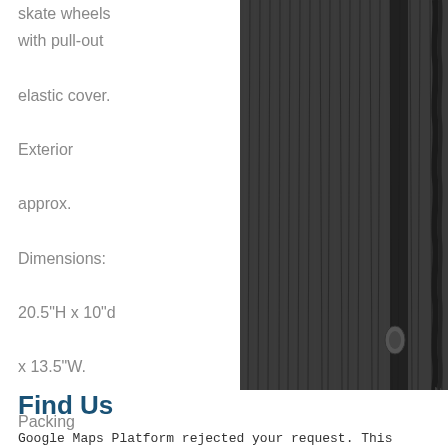skate wheels with pull-out elastic cover. Exterior approx. Dimensions: 20.5"H x 10"d x 13.5"W. Packing approx. Dimensions: 18"h x 10"d x 13.5"W. Weight: 4.5lbs. 🔲🔲🔲
[Figure (photo): Close-up photograph of dark gray/black fabric luggage showing zipper and mesh texture detail]
Find Us
Google Maps Platform rejected your request. This